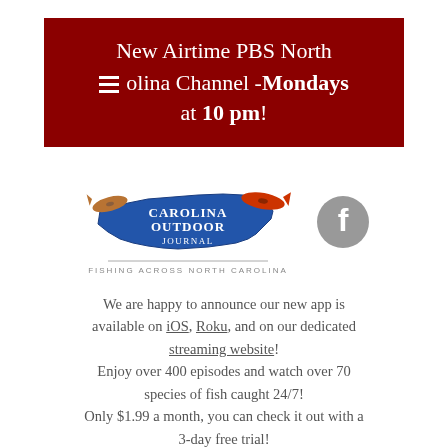New Airtime PBS North Carolina Channel - Mondays at 10 pm!
[Figure (logo): Carolina Outdoor Journal logo with blue North Carolina state shape and fish, tagline FISHING ACROSS NORTH CAROLINA, and a Facebook icon to the right]
We are happy to announce our new app is available on iOS, Roku, and on our dedicated streaming website! Enjoy over 400 episodes and watch over 70 species of fish caught 24/7! Only $1.99 a month, you can check it out with a 3-day free trial!